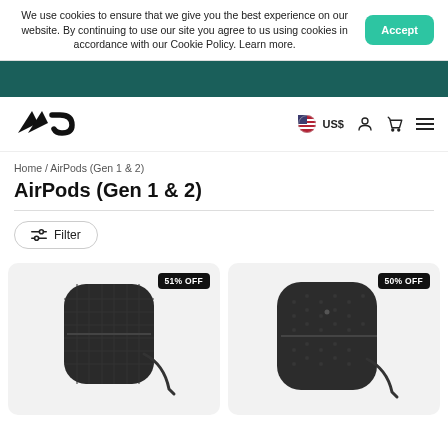We use cookies to ensure that we give you the best experience on our website. By continuing to use our site you agree to us using cookies in accordance with our Cookie Policy. Learn more.
[Figure (screenshot): Dark teal navigation banner]
[Figure (logo): Mous brand logo - stylized mountain and wave shape]
US$
Home / AirPods (Gen 1 & 2)
AirPods (Gen 1 & 2)
Filter
[Figure (photo): AirPods case in dark carbon fiber texture with strap, 51% OFF badge]
[Figure (photo): AirPods case in dark leather texture with strap, 50% OFF badge]